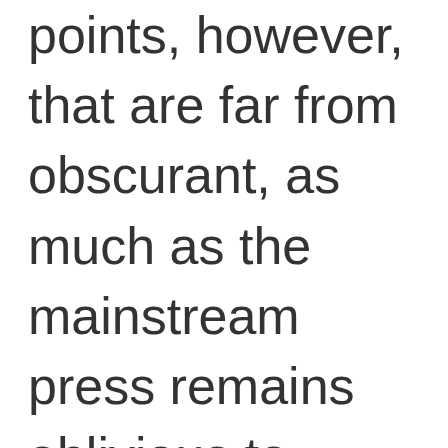points, however, that are far from obscurant, as much as the mainstream press remains oblivious to them. One is that whether or